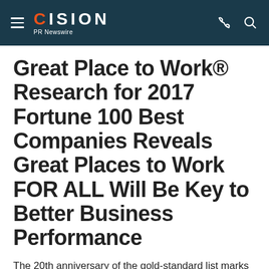CISION PR Newswire
Great Place to Work® Research for 2017 Fortune 100 Best Companies Reveals Great Places to Work FOR ALL Will Be Key to Better Business Performance
The 20th anniversary of the gold-standard list marks a turning point in corporate culture--the future will be defined by Great Places to Work For All.